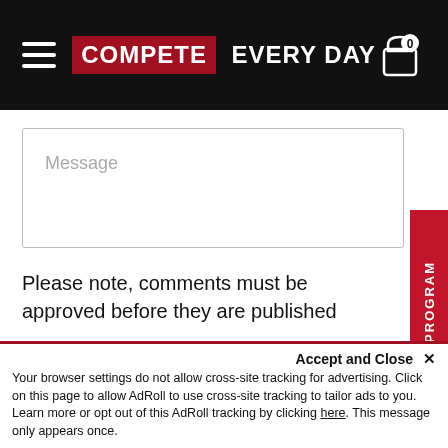COMPETE EVERY DAY
Message
Please note, comments must be approved before they are published
POST COMMENT
REWARDS PROGRAM
Accept and Close ×
Your browser settings do not allow cross-site tracking for advertising. Click on this page to allow AdRoll to use cross-site tracking to tailor ads to you. Learn more or opt out of this AdRoll tracking by clicking here. This message only appears once.